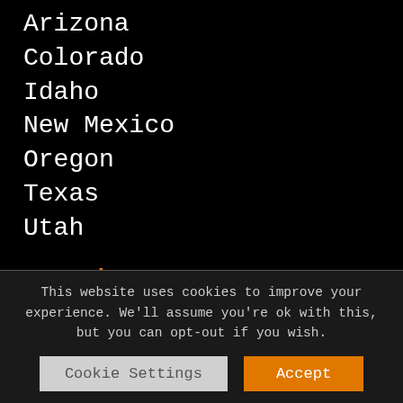Arizona
Colorado
Idaho
New Mexico
Oregon
Texas
Utah
Our Site
Home
Contact
This website uses cookies to improve your experience. We'll assume you're ok with this, but you can opt-out if you wish.